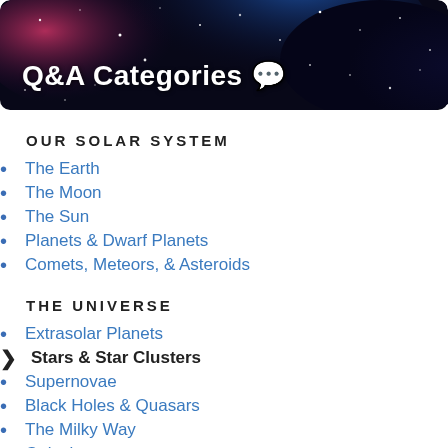Q&A Categories 💬
OUR SOLAR SYSTEM
The Earth
The Moon
The Sun
Planets & Dwarf Planets
Comets, Meteors, & Asteroids
THE UNIVERSE
Extrasolar Planets
Stars & Star Clusters
Supernovae
Black Holes & Quasars
The Milky Way
Galaxies
Cosmology & the Big Bang